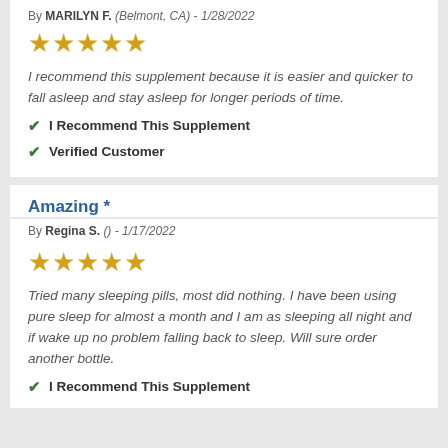By MARILYN F. (Belmont, CA) - 1/28/2022
[Figure (other): 5 gold stars rating]
I recommend this supplement because it is easier and quicker to fall asleep and stay asleep for longer periods of time.
I Recommend This Supplement
Verified Customer
Amazing *
By Regina S. () - 1/17/2022
[Figure (other): 5 gold stars rating]
Tried many sleeping pills, most did nothing. I have been using pure sleep for almost a month and I am as sleeping all night and if wake up no problem falling back to sleep. Will sure order another bottle.
I Recommend This Supplement